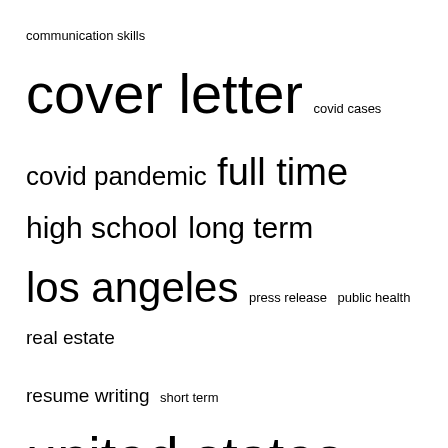[Figure (infographic): Tag cloud with terms of varying font sizes: communication skills (small), cover letter (very large), covid cases (small), covid pandemic (medium), full time (large), high school (medium), long term (medium), los angeles (large), press release (small), public health (small), real estate (medium), resume writing (medium), short term (small), united states (very large), work experience (small)]
RECENT POSTS
Here’s how to acquire an emergency cash loan when you’re on a tight budget
Don't Become A Victim Of A Bad Credit Loan Fraud
BIM Manager – Seattle, WA, United States | Works
A multi-talented entrepreneur is working to create a better future for